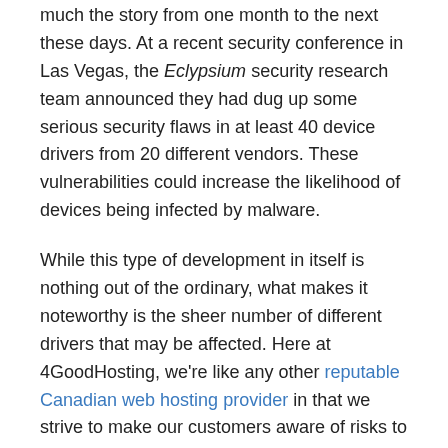much the story from one month to the next these days. At a recent security conference in Las Vegas, the Eclypsium security research team announced they had dug up some serious security flaws in at least 40 device drivers from 20 different vendors. These vulnerabilities could increase the likelihood of devices being infected by malware.
While this type of development in itself is nothing out of the ordinary, what makes it noteworthy is the sheer number of different drivers that may be affected. Here at 4GoodHosting, we're like any other reputable Canadian web hosting provider in that we strive to make our customers aware of risks to their digital security when they arise. When one is as potentially far reaching as this one, we're almost always going to make some sort of announcement regarding it.
The Latest
The research team's report is stating that this malware targets system BIOS or system components for the purposes of updating firmware, running diagnostics, or customizing options on the